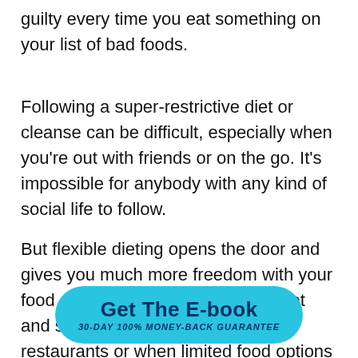guilty every time you eat something on your list of bad foods.
Following a super-restrictive diet or cleanse can be difficult, especially when you're out with friends or on the go. It's impossible for anybody with any kind of social life to follow.
But flexible dieting opens the door and gives you much more freedom with your food choices, making it easier to diet and stay on track, even at parties, restaurants or when limited food options are available.
[Figure (other): A teal rounded button with bold dark blue text reading 'Get The E-book' and italic subtitle '30-DAY 100% MONEY-BACK GUARANTEE']